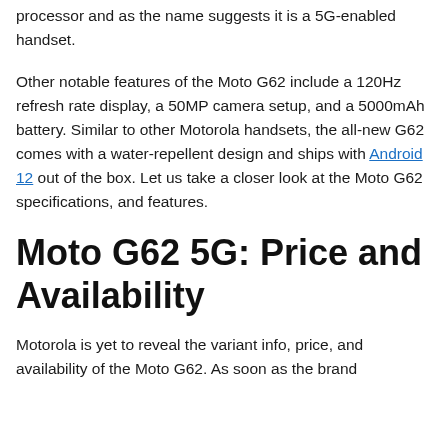processor and as the name suggests it is a 5G-enabled handset.
Other notable features of the Moto G62 include a 120Hz refresh rate display, a 50MP camera setup, and a 5000mAh battery. Similar to other Motorola handsets, the all-new G62 comes with a water-repellent design and ships with Android 12 out of the box. Let us take a closer look at the Moto G62 specifications, and features.
Moto G62 5G: Price and Availability
Motorola is yet to reveal the variant info, price, and availability of the Moto G62. As soon as the brand